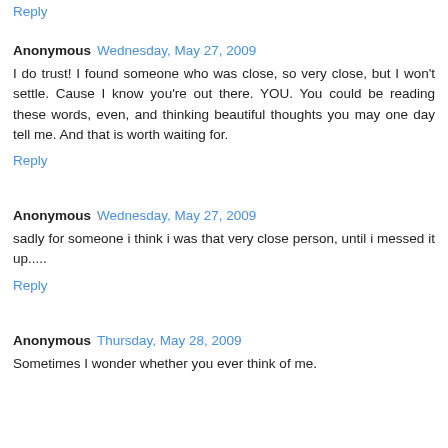Reply
Anonymous  Wednesday, May 27, 2009
I do trust! I found someone who was close, so very close, but I won't settle. Cause I know you're out there. YOU. You could be reading these words, even, and thinking beautiful thoughts you may one day tell me. And that is worth waiting for.
Reply
Anonymous  Wednesday, May 27, 2009
sadly for someone i think i was that very close person, until i messed it up.....
Reply
Anonymous  Thursday, May 28, 2009
Sometimes I wonder whether you ever think of me.